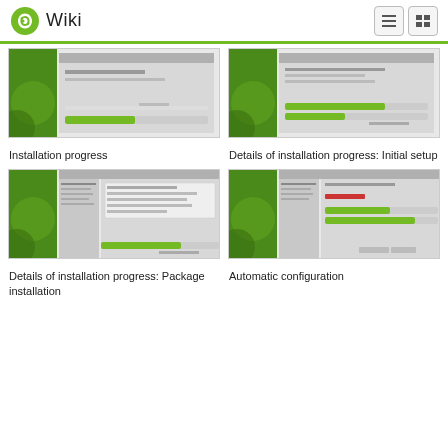Wiki
[Figure (screenshot): Screenshot of openSUSE installation progress screen showing a progress bar and green themed background with circles]
Installation progress
[Figure (screenshot): Screenshot of openSUSE details of installation progress showing initial setup with multiple progress bars]
Details of installation progress: Initial setup
[Figure (screenshot): Screenshot of openSUSE details of installation progress showing package installation with form fields and progress bar]
Details of installation progress: Package installation
[Figure (screenshot): Screenshot of openSUSE automatic configuration screen with progress bars and green themed background]
Automatic configuration